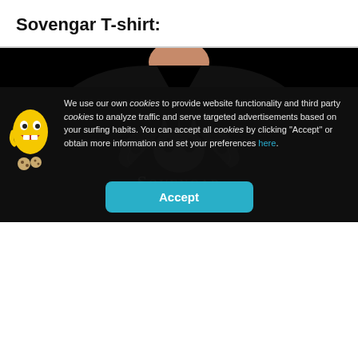Sovengar T-shirt:
[Figure (photo): Man wearing a black v-neck t-shirt with a skull and 'Sovengar' graphic print on a dark background]
We use our own cookies to provide website functionality and third party cookies to analyze traffic and serve targeted advertisements based on your surfing habits. You can accept all cookies by clicking “Accept” or obtain more information and set your preferences here.
[Figure (illustration): Yellow emoji/cookie mascot character laughing, with cookie pieces below]